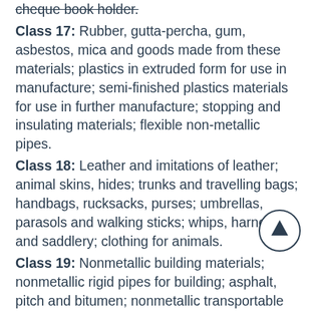cheque book holder.
Class 17: Rubber, gutta-percha, gum, asbestos, mica and goods made from these materials; plastics in extruded form for use in manufacture; semi-finished plastics materials for use in further manufacture; stopping and insulating materials; flexible non-metallic pipes.
Class 18: Leather and imitations of leather; animal skins, hides; trunks and travelling bags; handbags, rucksacks, purses; umbrellas, parasols and walking sticks; whips, harness and saddlery; clothing for animals.
Class 19: Nonmetallic building materials; nonmetallic rigid pipes for building; asphalt, pitch and bitumen; nonmetallic transportable buildings; nonmetallic monuments; nonmetallic framed conservatories, doors and windows.
Class 20: Furniture, mirrors, picture frames; articles made of wood, cork, reed, cane, wicker, horn, bone, ivory, whalebone, shell, amber,